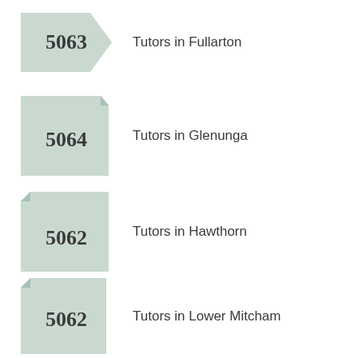5063 Tutors in Fullarton
5064 Tutors in Glenunga
5062 Tutors in Hawthorn
5062 Tutors in Lower Mitcham